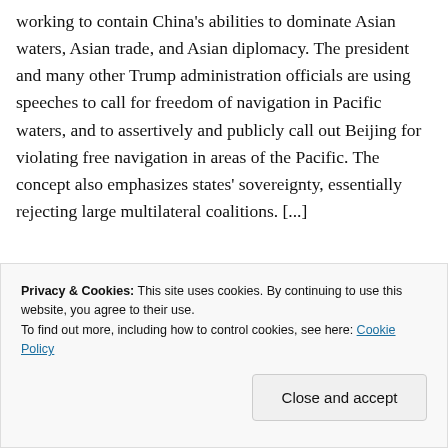working to contain China's abilities to dominate Asian waters, Asian trade, and Asian diplomacy. The president and many other Trump administration officials are using speeches to call for freedom of navigation in Pacific waters, and to assertively and publicly call out Beijing for violating free navigation in areas of the Pacific. The concept also emphasizes states' sovereignty, essentially rejecting large multilateral coalitions. [...]
[Figure (photo): Partial image showing a book or magazine with food/recipe content on a beige/tan background]
Privacy & Cookies: This site uses cookies. By continuing to use this website, you agree to their use.
To find out more, including how to control cookies, see here: Cookie Policy
Close and accept